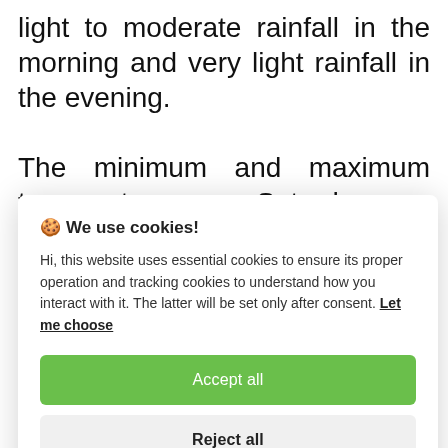light to moderate rainfall in the morning and very light rainfall in the evening.
The minimum and maximum temperatures on Saturday are likely to settle between 11.5 degree-Celsius and 15
🍪 We use cookies!

Hi, this website uses essential cookies to ensure its proper operation and tracking cookies to understand how you interact with it. The latter will be set only after consent. Let me choose

[Accept all]

[Reject all]